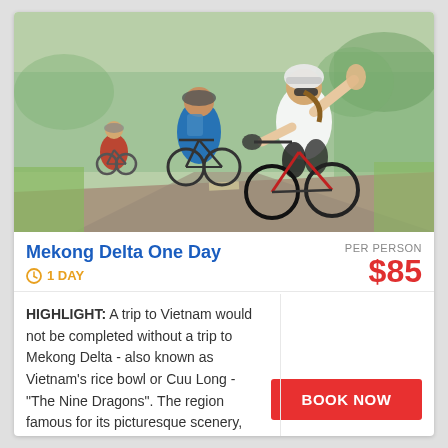[Figure (photo): Cyclists riding bicycles on a road through countryside in Vietnam; a woman in white top and helmet waves at the camera, a man in blue shirt beside her, others behind; green trees and fields in background]
Mekong Delta One Day
1 DAY
PER PERSON
$85
HIGHLIGHT: A trip to Vietnam would not be completed without a trip to Mekong Delta - also known as Vietnam's rice bowl or Cuu Long - "The Nine Dragons". The region famous for its picturesque scenery, traditions and ...
BOOK NOW